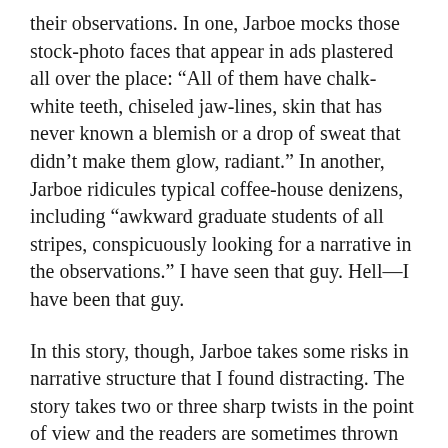their observations. In one, Jarboe mocks those stock-photo faces that appear in ads plastered all over the place: “All of them have chalk-white teeth, chiseled jaw-lines, skin that has never known a blemish or a drop of sweat that didn’t make them glow, radiant.” In another, Jarboe ridicules typical coffee-house denizens, including “awkward graduate students of all stripes, conspicuously looking for a narrative in the observations.” I have seen that guy. Hell—I have been that guy.
In this story, though, Jarboe takes some risks in narrative structure that I found distracting. The story takes two or three sharp twists in the point of view and the readers are sometimes thrown off the path that we thought we were on. We want this to be Sebastian’s story—whatever the outcome—because we like this